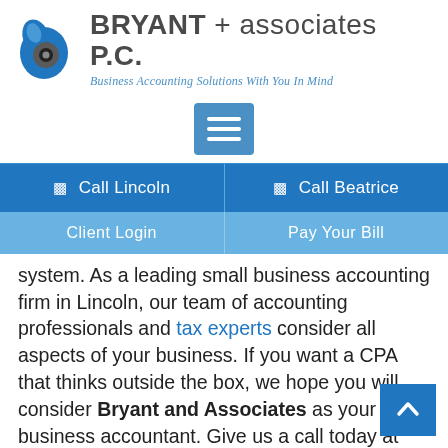[Figure (logo): Bryant + Associates P.C. logo with blue water-drop/eye icon and tagline 'Business Accounting Solutions With You In Mind']
[Figure (screenshot): Blue hamburger/menu button (three horizontal white lines on blue square background)]
☎ Call Lincoln
☎ Call Beatrice
Client Login
Pay Your Bill
system. As a leading small business accounting firm in Lincoln, our team of accounting professionals and tax experts consider all aspects of your business. If you want a CPA that thinks outside the box, we hope you will consider Bryant and Associates as your business accountant. Give us a call today at (402) 423-040… fill out our online contact form and ask what we c… for your business! We'd love to put our expertise to work for…